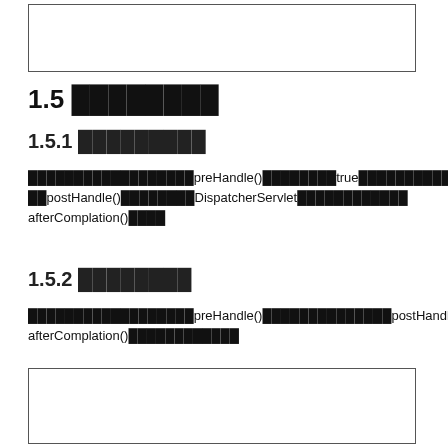[Figure (other): Empty bordered box at top of page]
1.5 ████████
1.5.1 █████████
██████████████████preHandle()████████true████████████████████████████████postHandle()████████DispatcherServlet████████████afterComplation()████
1.5.2 ████████
██████████████████preHandle()██████████████postHandle()█afterComplation()████████████
[Figure (other): Empty bordered box at bottom of page]